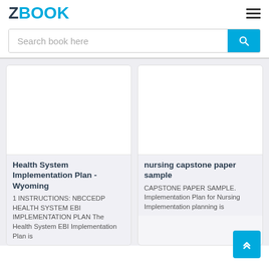ZBOOK
Search book here
Health System Implementation Plan - Wyoming
1 INSTRUCTIONS: NBCCEDP HEALTH SYSTEM EBI IMPLEMENTATION PLAN The Health System EBI Implementation Plan is
nursing capstone paper sample
CAPSTONE PAPER SAMPLE. Implementation Plan for Nursing Implementation planning is intended to help the